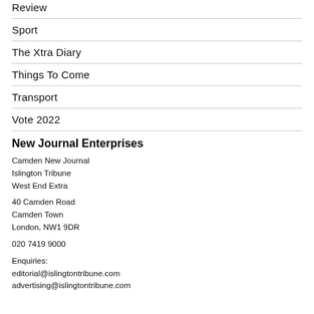Review
Sport
The Xtra Diary
Things To Come
Transport
Vote 2022
New Journal Enterprises
Camden New Journal
Islington Tribune
West End Extra

40 Camden Road
Camden Town
London, NW1 9DR

020 7419 9000

Enquiries:
editorial@islingtontribune.com
advertising@islingtontribune.com